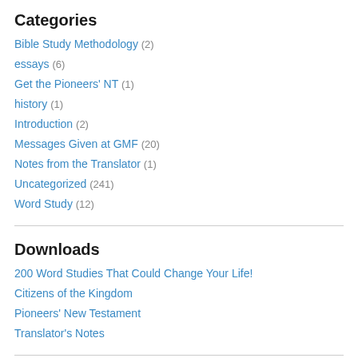Categories
Bible Study Methodology (2)
essays (6)
Get the Pioneers' NT (1)
history (1)
Introduction (2)
Messages Given at GMF (20)
Notes from the Translator (1)
Uncategorized (241)
Word Study (12)
Downloads
200 Word Studies That Could Change Your Life!
Citizens of the Kingdom
Pioneers' New Testament
Translator's Notes